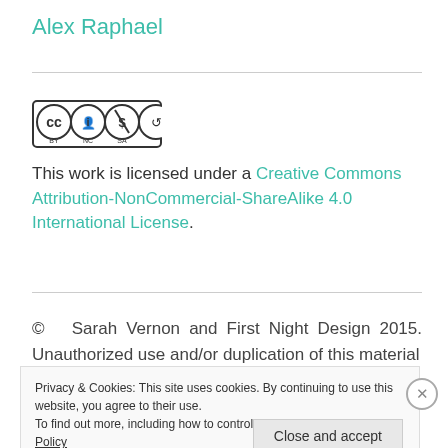Alex Raphael
[Figure (logo): Creative Commons BY NC SA license badge showing CC, person, dollar-sign-crossed, and share-alike icons in a row]
This work is licensed under a Creative Commons Attribution-NonCommercial-ShareAlike 4.0 International License.
© Sarah Vernon and First Night Design 2015. Unauthorized use and/or duplication of this material
Privacy & Cookies: This site uses cookies. By continuing to use this website, you agree to their use.
To find out more, including how to control cookies, see here: Cookie Policy
Close and accept